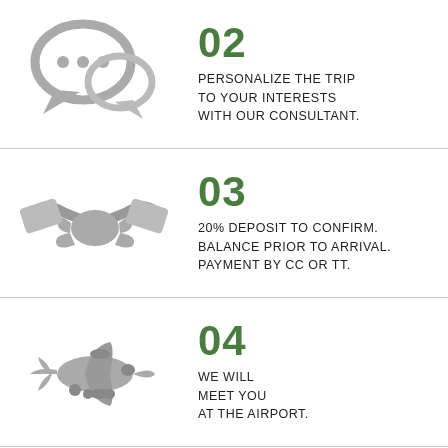[Figure (illustration): Chat/speech bubbles icon in gray]
02
PERSONALIZE THE TRIP TO YOUR INTERESTS WITH OUR CONSULTANT.
[Figure (illustration): Handshake with credit card icon in gray]
03
20% DEPOSIT TO CONFIRM. BALANCE PRIOR TO ARRIVAL. PAYMENT BY CC OR TT.
[Figure (illustration): Airplane icon in gray]
04
WE WILL MEET YOU AT THE AIRPORT.